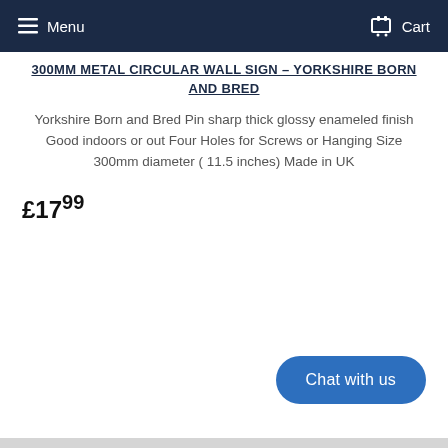Menu  Cart
300MM METAL CIRCULAR WALL SIGN – YORKSHIRE BORN AND BRED
Yorkshire Born and Bred Pin sharp thick glossy enameled finish Good indoors or out Four Holes for Screws or Hanging Size 300mm diameter ( 11.5 inches) Made in UK
£17.99